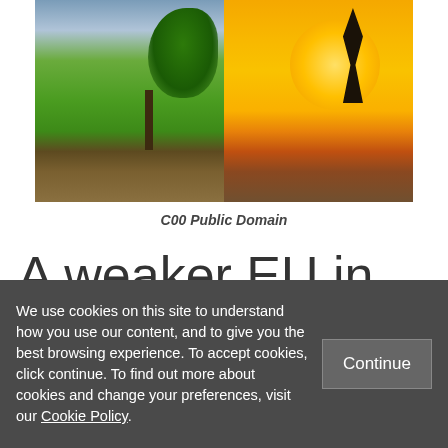[Figure (photo): Split image showing a lush green tree on the left side with cloudy sky and green grass, contrasted with a dry barren landscape under an orange/yellow sun on the right side — representing climate change.]
C00 Public Domain
A weaker EU in international climate politic
We use cookies on this site to understand how you use our content, and to give you the best browsing experience. To accept cookies, click continue. To find out more about cookies and change your preferences, visit our Cookie Policy.